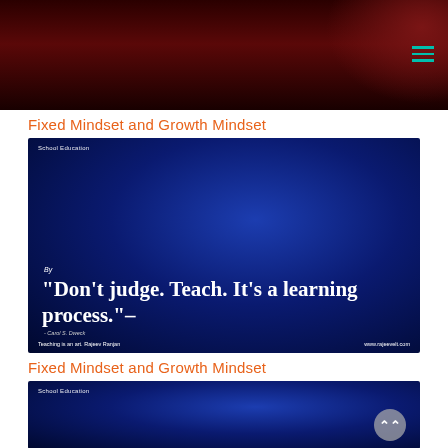Fixed Mindset and Growth Mindset
[Figure (photo): Dark blue gradient slide with white text quote: 'Don't judge. Teach. It's a learning process.' - Carol S. Dweck. Labeled 'School Education'. Footer: 'Teaching is an art. Rajeev Ranjan' and 'www.rajeevelt.com']
Fixed Mindset and Growth Mindset
[Figure (photo): Dark blue gradient slide labeled 'School Education' with a grey circular scroll-up button in bottom right corner.]